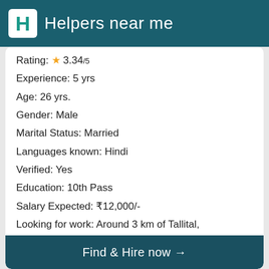Helpers near me
Rating: ★ 3.34/5
Experience: 5 yrs
Age: 26 yrs.
Gender: Male
Marital Status: Married
Languages known: Hindi
Verified: Yes
Education: 10th Pass
Salary Expected: ₹12,000/-
Looking for work: Around 3 km of Tallital, Nainital
Prefer to work: Day shift
Find & Hire now →